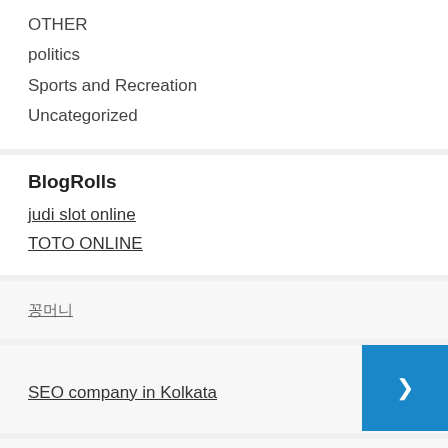OTHER
politics
Sports and Recreation
Uncategorized
BlogRolls
judi slot online
TOTO ONLINE
꽁머니
SEO company in Kolkata